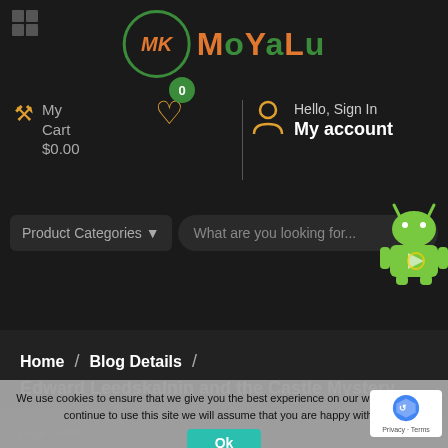[Figure (logo): MoYaLu website logo with green circle, orange/green MK monogram, and colorful MoYaLu text]
My Cart $0.00
0 (wishlist badge)
Hello, Sign In My account
Product Categories ▼
What are you looking for...
[Figure (illustration): Android robot mascot in green with Google Play colors]
Home / Blog Details /
Edward Leedskalnin and the Castle Mystery
We use cookies to ensure that we give you the best experience on our website. If you continue to use this site we will assume that you are happy with it.
Ok
[Figure (photo): Grayscale image at bottom, partially visible]
[Figure (other): reCAPTCHA badge with Privacy and Terms]